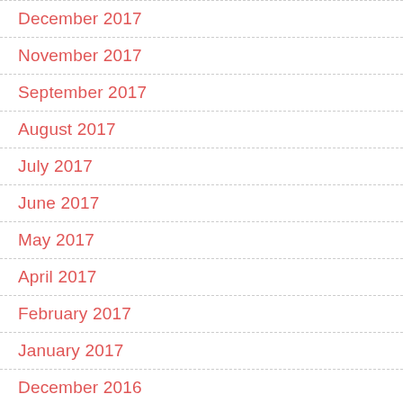December 2017
November 2017
September 2017
August 2017
July 2017
June 2017
May 2017
April 2017
February 2017
January 2017
December 2016